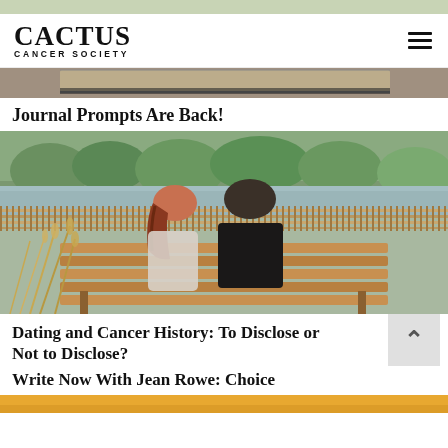CACTUS CANCER SOCIETY
[Figure (photo): Partial top strip of a previous article image, showing a dark/wooden background]
Journal Prompts Are Back!
[Figure (photo): Two people (a couple) sitting side by side on a wooden bench viewed from behind, with trees and water in the background, wheat grasses in the foreground]
Dating and Cancer History: To Disclose or Not to Disclose?
Write Now With Jean Rowe: Choice
[Figure (photo): Bottom orange/amber strip, partial view of next article image]